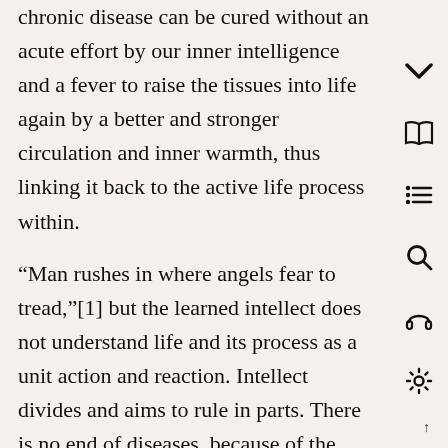chronic disease can be cured without an acute effort by our inner intelligence and a fever to raise the tissues into life again by a better and stronger circulation and inner warmth, thus linking it back to the active life process within.
“Man rushes in where angels fear to tread,”[1] but the learned intellect does not understand life and its process as a unit action and reaction. Intellect divides and aims to rule in parts. There is no end of diseases, because of the emphasis on detail of parts and description, like the leaves on a single tree. Life is one, and its process is one. Otherwise, the many parts would never make up a whole again as a unit of life. All this hangs together as one of the